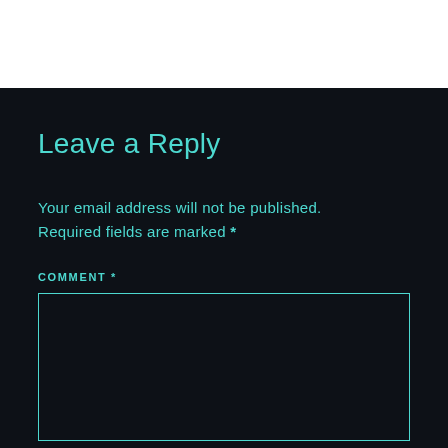Leave a Reply
Your email address will not be published. Required fields are marked *
COMMENT *
[Figure (other): Empty comment text area input box with teal border on dark background]